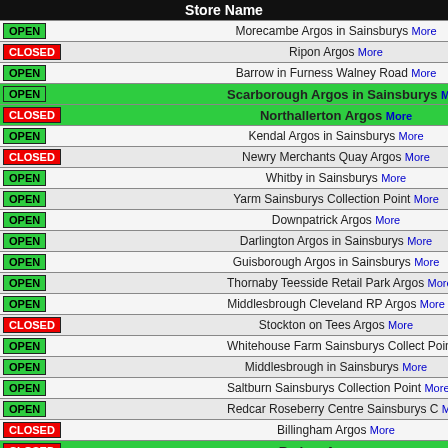| Store Name |
| --- |
| OPEN | Morecambe Argos in Sainsburys | More |
| CLOSED | Ripon Argos | More |
| OPEN | Barrow in Furness Walney Road | More |
| OPEN | Scarborough Argos in Sainsburys | More |
| CLOSED | Northallerton Argos | More |
| OPEN | Kendal Argos in Sainsburys | More |
| CLOSED | Newry Merchants Quay Argos | More |
| OPEN | Whitby in Sainsburys | More |
| OPEN | Yarm Sainsburys Collection Point | More |
| OPEN | Downpatrick Argos | More |
| OPEN | Darlington Argos in Sainsburys | More |
| OPEN | Guisborough Argos in Sainsburys | More |
| OPEN | Thornaby Teesside Retail Park Argos | More |
| OPEN | Middlesbrough Cleveland RP Argos | More |
| CLOSED | Stockton on Tees Argos | More |
| OPEN | Whitehouse Farm Sainsburys Collect Point | More |
| OPEN | Middlesbrough in Sainsburys | More |
| OPEN | Saltburn Sainsburys Collection Point | More |
| OPEN | Redcar Roseberry Centre Sainsburys C | More |
| CLOSED | Billingham Argos | More |
| CLOSED | Redcar Argos | More |